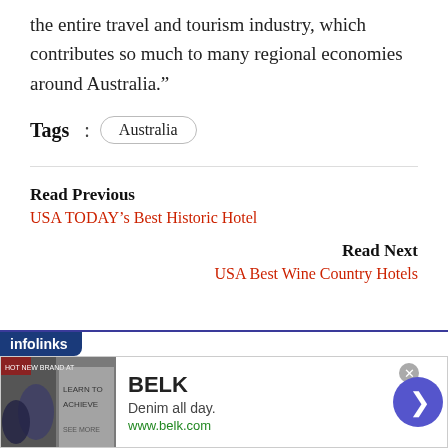the entire travel and tourism industry, which contributes so much to many regional economies around Australia.”
Tags : Australia
Read Previous
USA TODAY’s Best Historic Hotel
Read Next
USA Best Wine Country Hotels
[Figure (other): Infolinks advertisement banner for BELK: Denim all day. www.belk.com, with a fashion image on the left and a blue arrow button on the right.]